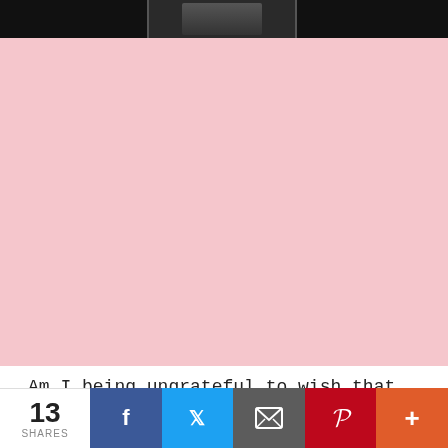[Figure (photo): Partial photo strip at top showing dark/black background with partial figure imagery across three segments]
Am I being ungrateful to wish that the other deliciously florid piece was also available?
13 SHARES | Facebook | Twitter | Email | Pinterest | More